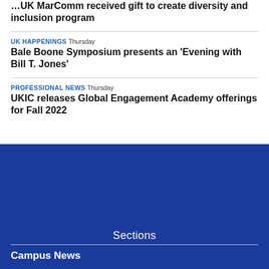…UK MarComm received gift to create diversity and inclusion program
UK HAPPENINGS Thursday
Bale Boone Symposium presents an 'Evening with Bill T. Jones'
PROFESSIONAL NEWS Thursday
UKIC releases Global Engagement Academy offerings for Fall 2022
Sections
Campus News